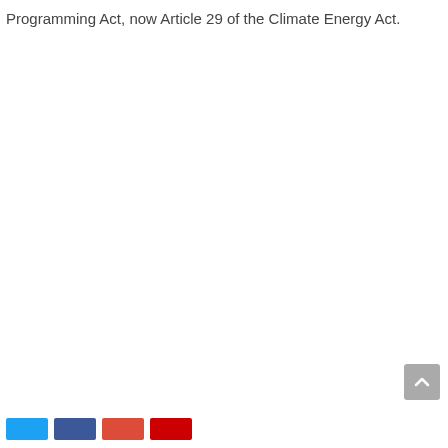Programming Act, now Article 29 of the Climate Energy Act.
[Figure (other): Scroll-to-top button (grey rounded square with upward chevron arrow)]
[Figure (other): Social share buttons: Twitter (blue), Facebook (dark blue), Email (red-orange), Share (dark red)]